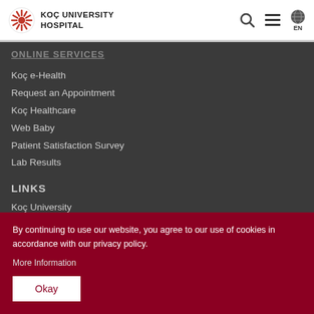KOÇ UNIVERSITY HOSPITAL
ONLINE SERVICES
Koç e-Health
Request an Appointment
Koç Healthcare
Web Baby
Patient Satisfaction Survey
Lab Results
LINKS
Koç University
School of Medicine
By continuing to use our website, you agree to our use of cookies in accordance with our privacy policy.
More Information
Okay